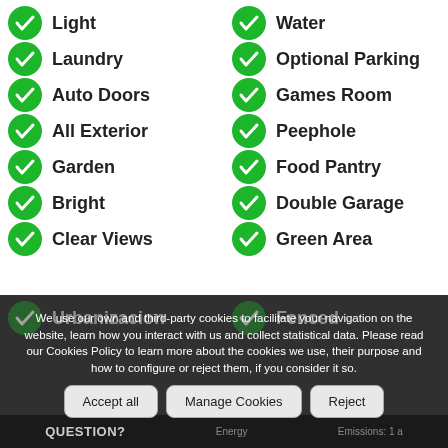Light
Water
Laundry
Optional Parking
Auto Doors
Games Room
All Exterior
Peephole
Garden
Food Pantry
Bright
Double Garage
Clear Views
Green Area
Urbanizacion
Fenced
We use our own and third-party cookies to facilitate your navigation on the website, learn how you interact with us and collect statistical data. Please read our Cookies Policy to learn more about the cookies we use, their purpose and how to configure or reject them, if you consider it so.
Accept all | Manage Cookies | Reject
QUESTION?
Energy    Emissions: 1 a